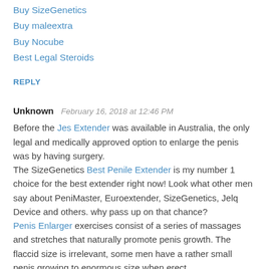Buy SizeGenetics
Buy maleextra
Buy Nocube
Best Legal Steroids
REPLY
Unknown  February 16, 2018 at 12:46 PM
Before the Jes Extender was available in Australia, the only legal and medically approved option to enlarge the penis was by having surgery.
The SizeGenetics Best Penile Extender is my number 1 choice for the best extender right now! Look what other men say about PeniMaster, Euroextender, SizeGenetics, Jelq Device and others. why pass up on that chance?
Penis Enlarger exercises consist of a series of massages and stretches that naturally promote penis growth. The flaccid size is irrelevant, some men have a rather small penis growing to enormous size when erect,
REPLY